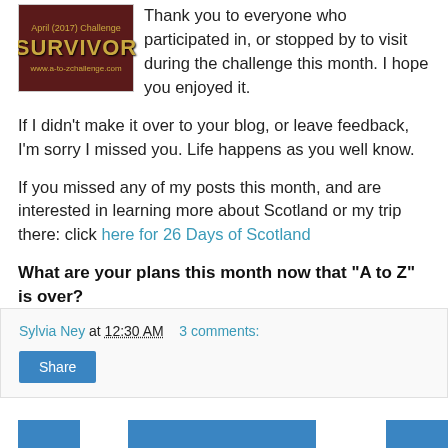[Figure (illustration): A-to-Z Challenge Survivor badge with dark red background and gold text reading 'SURVIVOR' and 'www.a-to-zchallenge.com']
Thank you to everyone who participated in, or stopped by to visit during the challenge this month. I hope you enjoyed it.
If I didn't make it over to your blog, or leave feedback, I'm sorry I missed you. Life happens as you well know.
If you missed any of my posts this month, and are interested in learning more about Scotland or my trip there: click here for 26 Days of Scotland
What are your plans this month now that "A to Z" is over?
Sylvia Ney at 12:30 AM   3 comments:
Share